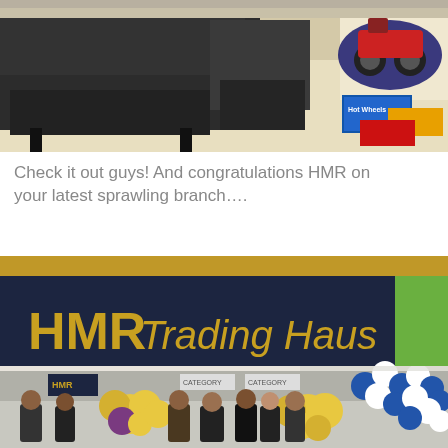[Figure (photo): Interior photo showing dark black sofa/armchairs on a light tiled floor, with RC toy cars and Hot Wheels boxes visible on the right side.]
Check it out guys! And congratulations HMR on your latest sprawling branch….
[Figure (photo): Exterior photo of HMR Trading Haus store front with large dark blue signage with gold lettering, people standing in front, yellow flowers and blue/white balloon decorations for a grand opening.]